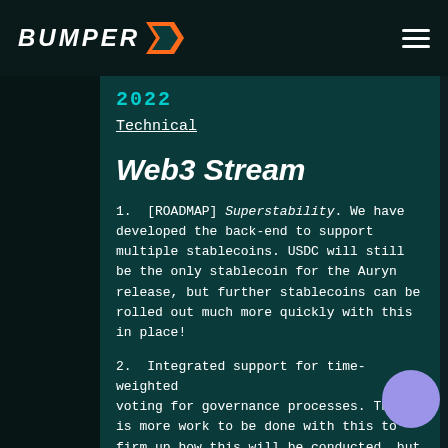BUMPER [logo]
2022
Technical
Web3 Stream
1. [ROADMAP] Superstability. We have developed the back-end to support multiple stablecoins. USDC will still be the only stablecoin for the Auryn release, but further stablecoins can be rolled out much more quickly with this in place!
2. Integrated support for time-weighted voting for governance processes. There is more work to be done with this to firm up how this will be conducted, but